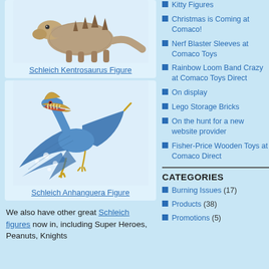[Figure (photo): Schleich Kentrosaurus dinosaur figure toy on white background]
Schleich Kentrosaurus Figure
[Figure (photo): Schleich Anhanguera pterosaur figure toy — blue with yellow accents, open mouth, white background]
Schleich Anhanguera Figure
We also have other great Schleich figures now in, including Super Heroes, Peanuts, Knights
Kitty Figures
Christmas is Coming at Comaco!
Nerf Blaster Sleeves at Comaco Toys
Rainbow Loom Band Crazy at Comaco Toys Direct
On display
Lego Storage Bricks
On the hunt for a new website provider
Fisher-Price Wooden Toys at Comaco Direct
CATEGORIES
Burning Issues (17)
Products (38)
Promotions (5)